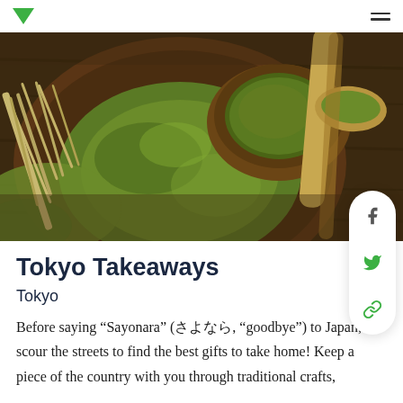[Figure (photo): Overhead close-up photo of matcha green tea powder in a wooden bowl with a bamboo whisk, a cup of prepared matcha tea, and a wooden spoon with green tea powder, all on a dark wooden surface]
Tokyo Takeaways
Tokyo
Before saying “Sayonara” (さよなら, “goodbye”) to Japan, scour the streets to find the best gifts to take home! Keep a piece of the country with you through traditional crafts, locally produced trinkets and gorgeous food it